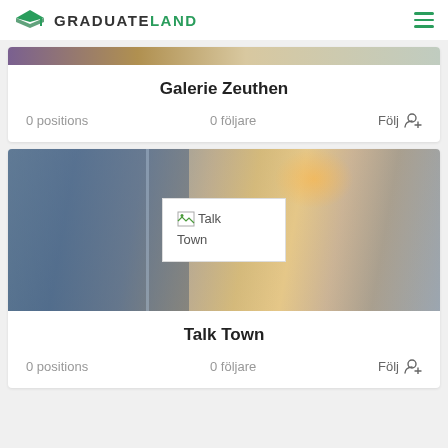GRADUATELAND
[Figure (screenshot): Galerie Zeuthen company card with banner strip at top]
Galerie Zeuthen
0 positions   0 följare   Följ
[Figure (photo): Talk Town company card with photo of two people looking at a laptop, woman with blonde hair and man with beard; broken image icon overlay in center showing Talk Town logo placeholder]
Talk Town
0 positions   0 följare   Följ